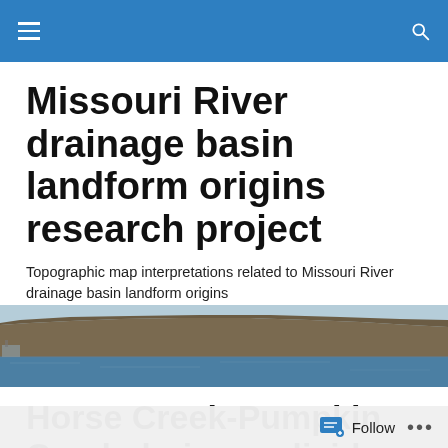Missouri River drainage basin landform origins research project — site navigation header
Missouri River drainage basin landform origins research project
Topographic map interpretations related to Missouri River drainage basin landform origins
[Figure (photo): Aerial or landscape photograph of a river bank or bluff along the Missouri River, showing water in the foreground and a flat-topped eroded landform ridge in the background under an overcast sky.]
Horse Creek-Pumpkin Creek drainage divide area landform origins
Follow